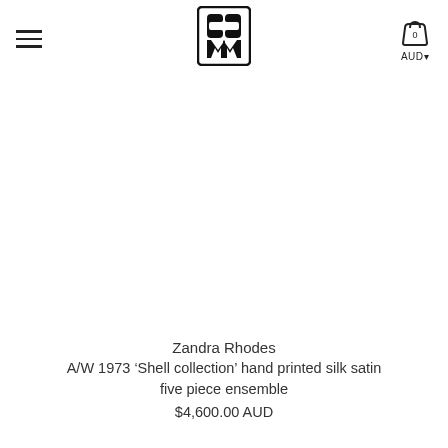≡  [CC/MM Logo]  [Cart: 0]  AUD▾
[Figure (logo): CC/MM brand logo in a square border with stylized letters]
Zandra Rhodes
A/W 1973 ‘Shell collection’ hand printed silk satin five piece ensemble
$4,600.00 AUD